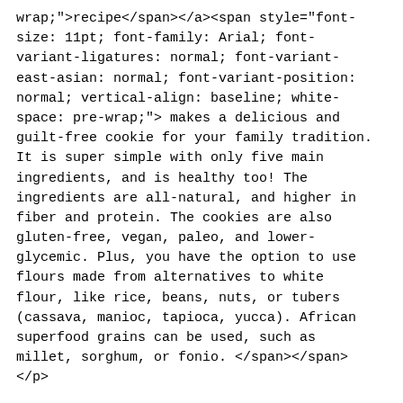wrap;">recipe</span></a><span style="font-size: 11pt; font-family: Arial; font-variant-ligatures: normal; font-variant-east-asian: normal; font-variant-position: normal; vertical-align: baseline; white-space: pre-wrap;"> makes a delicious and guilt-free cookie for your family tradition. It is super simple with only five main ingredients, and is healthy too! The ingredients are all-natural, and higher in fiber and protein. The cookies are also gluten-free, vegan, paleo, and lower-glycemic. Plus, you have the option to use flours made from alternatives to white flour, like rice, beans, nuts, or tubers (cassava, manioc, tapioca, yucca). African superfood grains can be used, such as millet, sorghum, or fonio. </span></span>
</p>